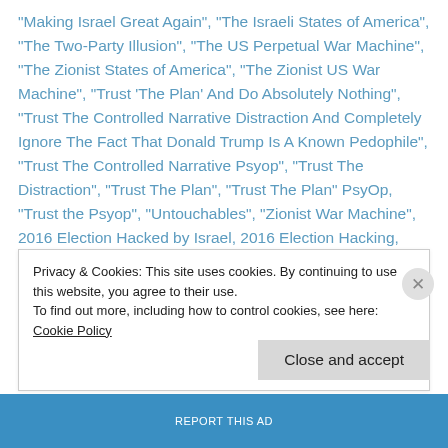"Making Israel Great Again", "The Israeli States of America", "The Two-Party Illusion", "The US Perpetual War Machine", "The Zionist States of America", "The Zionist US War Machine", "Trust 'The Plan' And Do Absolutely Nothing", "Trust The Controlled Narrative Distraction And Completely Ignore The Fact That Donald Trump Is A Known Pedophile", "Trust The Controlled Narrative Psyop", "Trust The Distraction", "Trust The Plan", "Trust The Plan" PsyOp, "Trust the Psyop", "Untouchables", "Zionist War Machine", 2016 Election Hacked by Israel, 2016 Election Hacking, 2020 Election, 3D Matrix, Absurdity, Abuse of Power, Abuses of Power, Agendas, Agents of the Mossad, Al, Al
Privacy & Cookies: This site uses cookies. By continuing to use this website, you agree to their use.
To find out more, including how to control cookies, see here: Cookie Policy
Close and accept
REPORT THIS AD